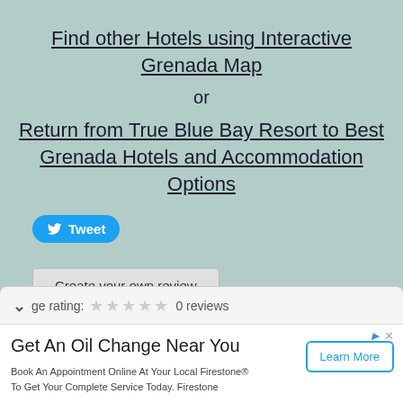Find other Hotels using Interactive Grenada Map
or
Return from True Blue Bay Resort to Best Grenada Hotels and Accommodation Options
Tweet
Create your own review
ge rating: 0 reviews
Get An Oil Change Near You
Book An Appointment Online At Your Local Firestone® To Get Your Complete Service Today. Firestone
Learn More